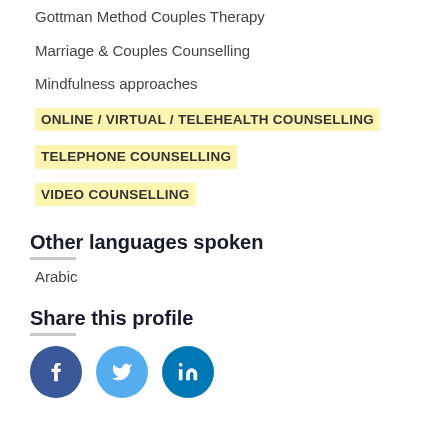Gottman Method Couples Therapy
Marriage & Couples Counselling
Mindfulness approaches
ONLINE / VIRTUAL / TELEHEALTH COUNSELLING
TELEPHONE COUNSELLING
VIDEO COUNSELLING
Other languages spoken
Arabic
Share this profile
[Figure (illustration): Three social media share buttons: Facebook (dark blue circle with f), Twitter (light blue circle with bird icon), LinkedIn (teal circle with in)]